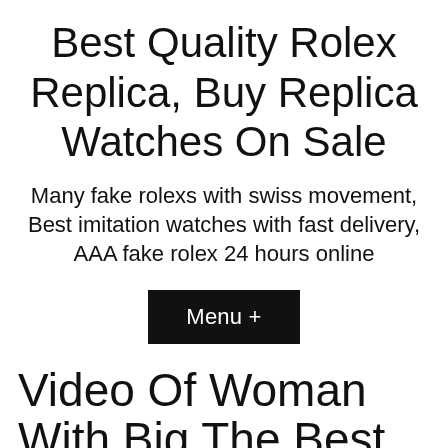Best Quality Rolex Replica, Buy Replica Watches On Sale
Many fake rolexs with swiss movement, Best imitation watches with fast delivery, AAA fake rolex 24 hours online
Menu +
Video Of Woman With Big The Best Site For